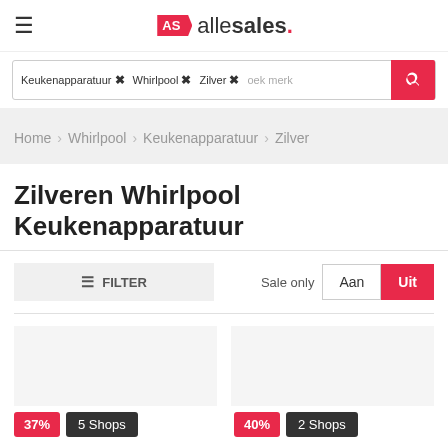[Figure (logo): allesales logo with AS badge and hamburger menu icon]
Keukenapparatuur × Whirlpool × Zilver × oek merk
Home > Whirlpool > Keukenapparatuur > Zilver
Zilveren Whirlpool Keukenapparatuur
≡ FILTER   Sale only  Aan  Uit
37%  5 Shops    40%  2 Shops